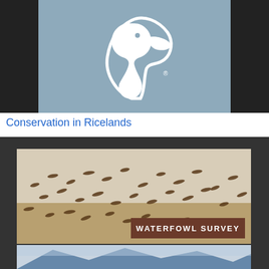[Figure (logo): Ducks Unlimited duck head logo in white on steel blue background with black side bars]
Conservation in Ricelands
[Figure (photo): Waterfowl Survey banner: flock of birds in flight over water/sky with brown WATERFOWL SURVEY label overlay, dark border]
2016 Waterfowl Population Survey
[Figure (photo): Mountain landscape photo partially visible at bottom of page with dark border]